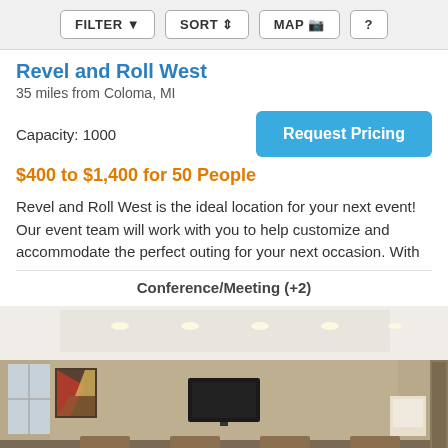FILTER   SORT   MAP   ?
Revel and Roll West
35 miles from Coloma, MI
Capacity: 1000
Request Pricing
$400 to $1,400 for 50 People
Revel and Roll West is the ideal location for your next event! Our event team will work with you to help customize and accommodate the perfect outing for your next occasion. With
Conference/Meeting (+2)
[Figure (photo): Interior photo of a conference/meeting room with rows of chairs and tables, a TV mounted on the wall, recessed lighting in a white coffered ceiling, and beige/tan walls. Artwork hangs on the left wall near a window.]